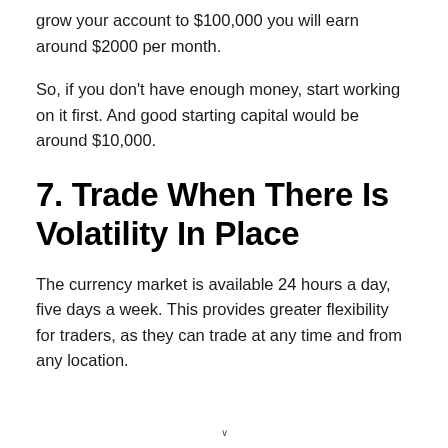grow your account to $100,000 you will earn around $2000 per month.
So, if you don't have enough money, start working on it first. And good starting capital would be around $10,000.
7. Trade When There Is Volatility In Place
The currency market is available 24 hours a day, five days a week. This provides greater flexibility for traders, as they can trade at any time and from any location.
v